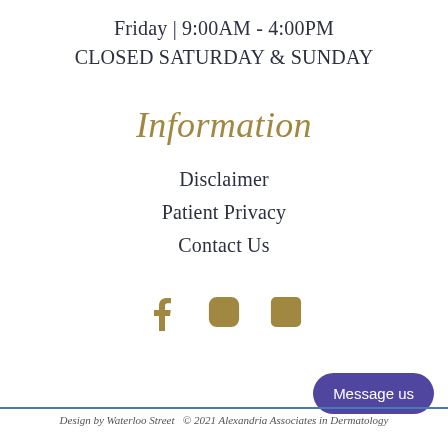Friday | 9:00AM - 4:00PM
CLOSED SATURDAY & SUNDAY
Information
Disclaimer
Patient Privacy
Contact Us
[Figure (illustration): Social media icons: Facebook, Instagram, LinkedIn in gold/tan color]
Message us
Design by Waterloo Street  © 2021 Alexandria Associates in Dermatology